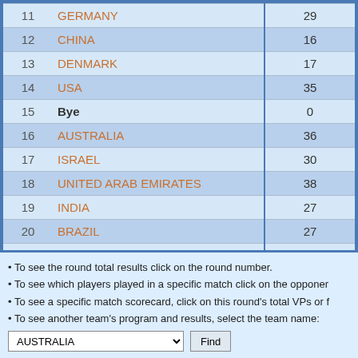| Rank | Country | Score |
| --- | --- | --- |
| 11 | GERMANY | 29 |
| 12 | CHINA | 16 |
| 13 | DENMARK | 17 |
| 14 | USA | 35 |
| 15 | Bye | 0 |
| 16 | AUSTRALIA | 36 |
| 17 | ISRAEL | 30 |
| 18 | UNITED ARAB EMIRATES | 38 |
| 19 | INDIA | 27 |
| 20 | BRAZIL | 27 |
| 21 | NETHERLANDS | 6 |
| 22 | ENGLAND | 37 |
| 23 | FRANCE | 25 |
To see the round total results click on the round number.
To see which players played in a specific match click on the opponent.
To see a specific match scorecard, click on this round's total VPs or f
To see another team's program and results, select the team name: